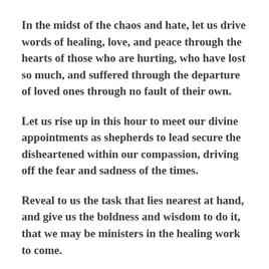In the midst of the chaos and hate, let us drive words of healing, love, and peace through the hearts of those who are hurting, who have lost so much, and suffered through the departure of loved ones through no fault of their own.
Let us rise up in this hour to meet our divine appointments as shepherds to lead secure the disheartened within our compassion, driving off the fear and sadness of the times.
Reveal to us the task that lies nearest at hand, and give us the boldness and wisdom to do it, that we may be ministers in the healing work to come.
Keep us free from sin, and blameless of